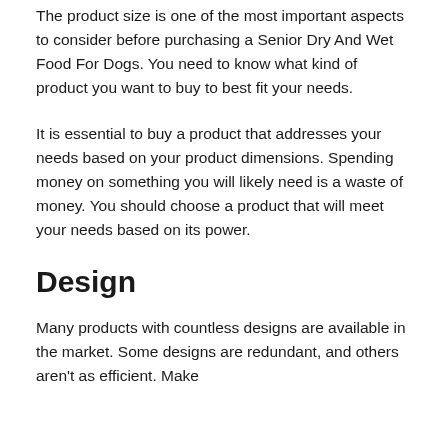The product size is one of the most important aspects to consider before purchasing a Senior Dry And Wet Food For Dogs. You need to know what kind of product you want to buy to best fit your needs.
It is essential to buy a product that addresses your needs based on your product dimensions. Spending money on something you will likely need is a waste of money. You should choose a product that will meet your needs based on its power.
Design
Many products with countless designs are available in the market. Some designs are redundant, and others aren't as efficient. Make